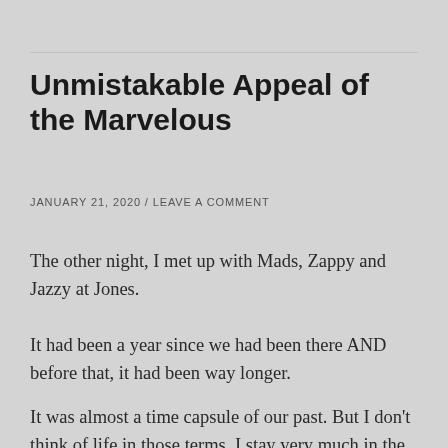Unmistakable Appeal of the Marvelous
JANUARY 21, 2020  /  LEAVE A COMMENT
The other night, I met up with Mads, Zappy and Jazzy at Jones.
It had been a year since we had been there AND before that, it had been way longer.
It was almost a time capsule of our past. But I don't think of life in those terms. I stay very much in the present, which is why I am the worst at telling you how long ago